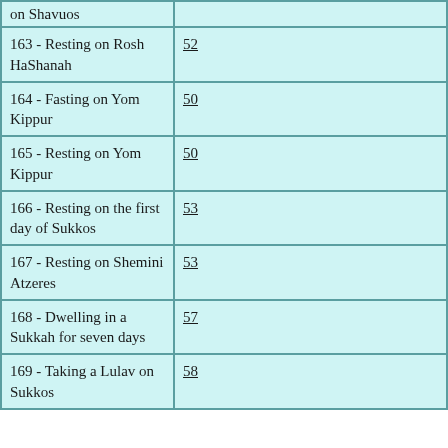| Commandment | Page |
| --- | --- |
| on Shavuos |  |
| 163 - Resting on Rosh HaShanah | 52 |
| 164 - Fasting on Yom Kippur | 50 |
| 165 - Resting on Yom Kippur | 50 |
| 166 - Resting on the first day of Sukkos | 53 |
| 167 - Resting on Shemini Atzeres | 53 |
| 168 - Dwelling in a Sukkah for seven days | 57 |
| 169 - Taking a Lulav on Sukkos | 58 |